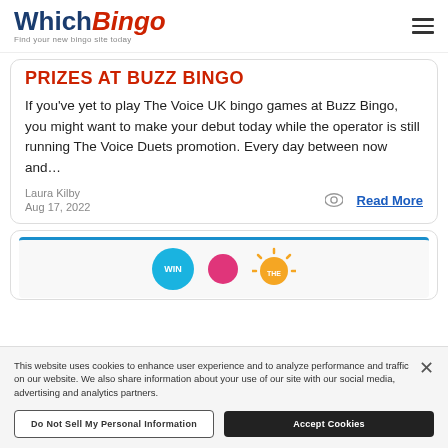WhichBingo - Find your new bingo site today
PRIZES AT BUZZ BINGO
If you've yet to play The Voice UK bingo games at Buzz Bingo, you might want to make your debut today while the operator is still running The Voice Duets promotion. Every day between now and...
Laura Kilby
Aug 17, 2022
Read More
[Figure (illustration): Partial view of a second article card with colorful bingo-themed icons including a blue Win circle, a pink circle, and a sun icon]
This website uses cookies to enhance user experience and to analyze performance and traffic on our website. We also share information about your use of our site with our social media, advertising and analytics partners.
Do Not Sell My Personal Information
Accept Cookies